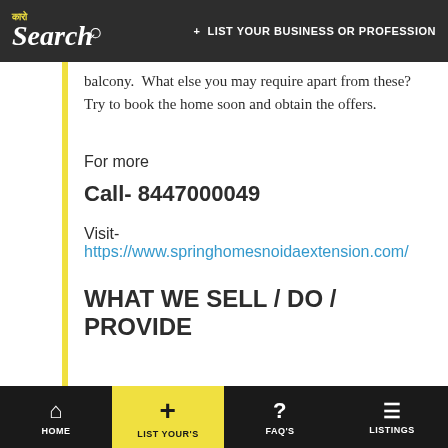कारो Search + LIST YOUR BUSINESS OR PROFESSION
balcony. What else you may require apart from these? Try to book the home soon and obtain the offers.
For more
Call- 8447000049
Visit- https://www.springhomesnoidaextension.com/
WHAT WE SELL / DO / PROVIDE
HOME | LIST YOUR's | FAQ's | LISTINGS